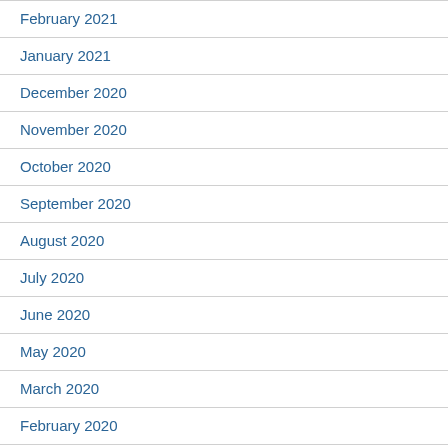February 2021
January 2021
December 2020
November 2020
October 2020
September 2020
August 2020
July 2020
June 2020
May 2020
March 2020
February 2020
November 2019